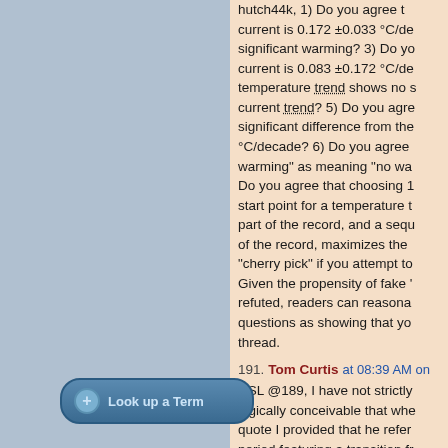hutch44k, 1) Do you agree that current is 0.172 ±0.033 °C/de significant warming? 3) Do yo current is 0.083 ±0.172 °C/de temperature trend shows no s current trend? 5) Do you agre significant difference from the °C/decade? 6) Do you agree warming" as meaning "no wa Do you agree that choosing 1 start point for a temperature t part of the record, and a sequ of the record, maximizes the "cherry pick" if you attempt to Given the propensity of fake ' refuted, readers can reasona questions as showing that yo thread.
191. Tom Curtis at 08:39 AM on DSL @189, I have not strictly logically conceivable that whe quote I provided that he refer period featuring a transition fr show is that Carter has said t referencing the original article that it was cooling from 1998 hutch44k has no basis to clai